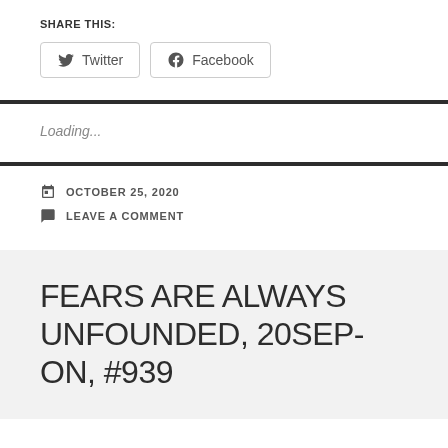SHARE THIS:
Twitter  Facebook
Loading...
OCTOBER 25, 2020
LEAVE A COMMENT
FEARS ARE ALWAYS UNFOUNDED, 20SEP-ON, #939